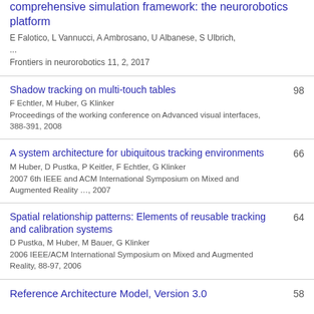comprehensive simulation framework: the neurorobotics platform
E Falotico, L Vannucci, A Ambrosano, U Albanese, S Ulbrich, ...
Frontiers in neurorobotics 11, 2, 2017
Shadow tracking on multi-touch tables
F Echtler, M Huber, G Klinker
Proceedings of the working conference on Advanced visual interfaces, 388-391, 2008
98
A system architecture for ubiquitous tracking environments
M Huber, D Pustka, P Keitler, F Echtler, G Klinker
2007 6th IEEE and ACM International Symposium on Mixed and Augmented Reality …, 2007
66
Spatial relationship patterns: Elements of reusable tracking and calibration systems
D Pustka, M Huber, M Bauer, G Klinker
2006 IEEE/ACM International Symposium on Mixed and Augmented Reality, 88-97, 2006
64
Reference Architecture Model, Version 3.0
58